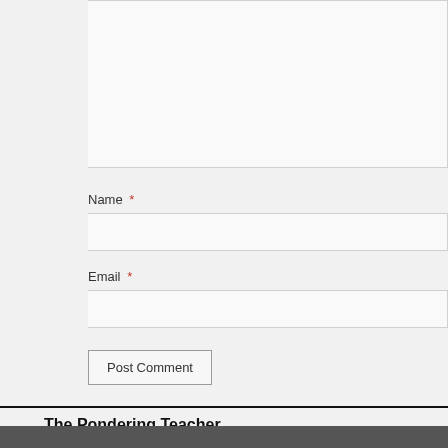[Figure (screenshot): Comment textarea input box (partial, extending from top-left)]
Name *
[Figure (screenshot): Name input field]
Email *
[Figure (screenshot): Email input field]
Post Comment
The Pondering Teacher